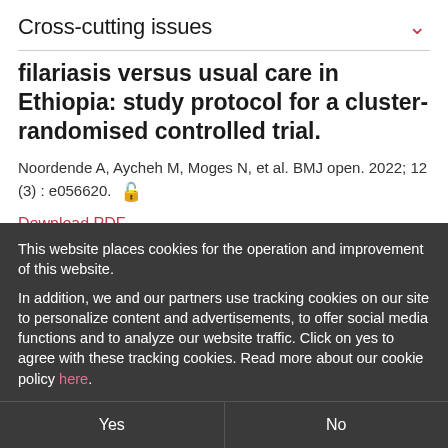Cross-cutting issues
filariasis versus usual care in Ethiopia: study protocol for a cluster-randomised controlled trial.
Noordende A, Aycheh M, Moges N, et al. BMJ open. 2022; 12 (3) : e056620.
Download PDF
This website places cookies for the operation and improvement of this website.
In addition, we and our partners use tracking cookies on our site to personalize content and advertisements, to offer social media functions and to analyze our website traffic. Click on yes to agree with these tracking cookies. Read more about our cookie policy here.
Yes
No